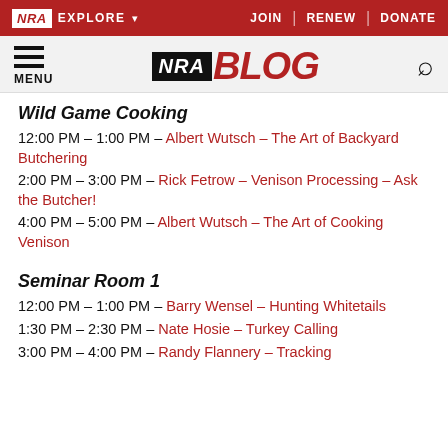NRA EXPLORE | JOIN | RENEW | DONATE
[Figure (logo): NRA BLOG logo with hamburger menu and search icon]
Wild Game Cooking
12:00 PM – 1:00 PM – Albert Wutsch – The Art of Backyard Butchering
2:00 PM – 3:00 PM – Rick Fetrow – Venison Processing – Ask the Butcher!
4:00 PM – 5:00 PM – Albert Wutsch – The Art of Cooking Venison
Seminar Room 1
12:00 PM – 1:00 PM – Barry Wensel – Hunting Whitetails
1:30 PM – 2:30 PM – Nate Hosie – Turkey Calling
3:00 PM – 4:00 PM – Randy Flannery – Tracking